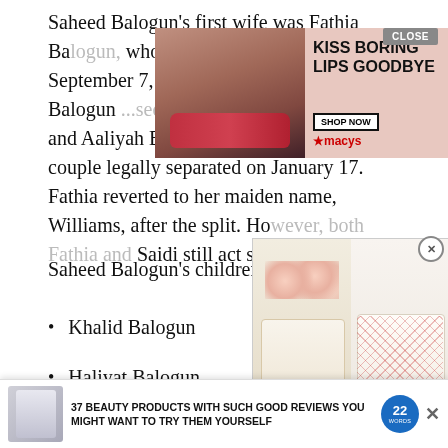Saheed Balogun's first wife was Fathia Balogun, whom he tied their knot with on September 7, 2000. Fathia Balogun blessed with two children, Khalid, and Aaliyah Balogun. 14 years later, the couple legally separated on January 17. Fathia reverted to her maiden name, Williams, after the split. However, both Fathia and Saidi still act side by side.
Saheed Balogun's children
Khalid Balogun
Haliyat Balogun
Jam...
Zin...
[Figure (other): Macy's advertisement overlay: 'Kiss Boring Lips Goodbye' with 'Shop Now' button, featuring a woman with red lipstick]
[Figure (photo): Advertisement showing two decorated cakes side by side — one with pink roses, one with a red lattice pattern]
[Figure (infographic): Bottom banner ad: '37 Beauty Products With Such Good Reviews You Might Want To Try Them Yourself' with '22 Words' badge]